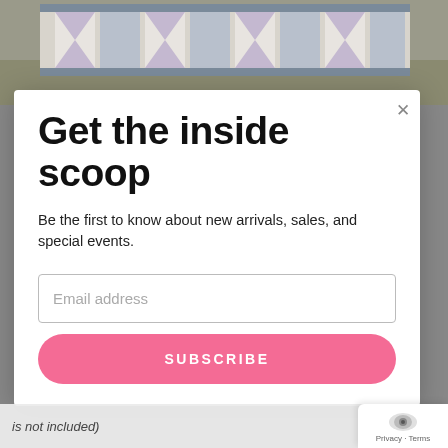[Figure (photo): Photo of a quilt with blue, white, and floral fabric pattern laid on grass, partially visible at the top of the page]
Get the inside scoop
Be the first to know about new arrivals, sales, and special events.
Email address
SUBSCRIBE
is not included)
Privacy · Terms